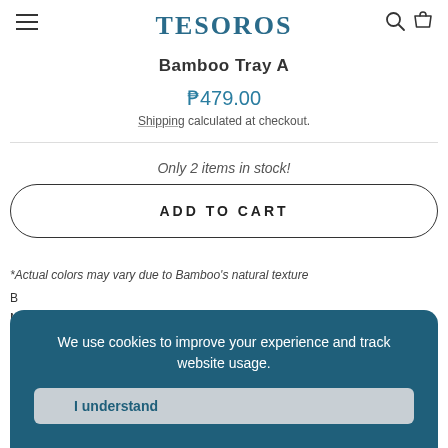TESOROS
Bamboo Tray A
₱479.00
Shipping calculated at checkout.
Only 2 items in stock!
ADD TO CART
*Actual colors may vary due to Bamboo's natural texture
B
M
S
O
We use cookies to improve your experience and track website usage.
I understand